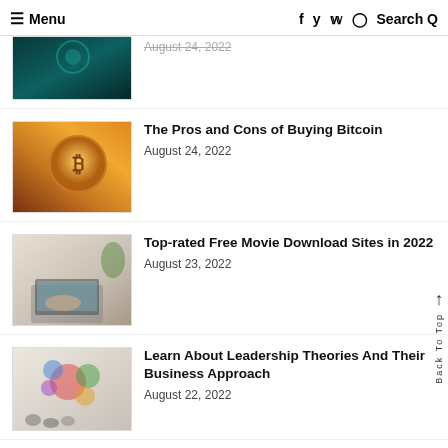≡ Menu   f  y  p  ⊙  Search Q
[Figure (photo): Partial thumbnail of dark teal/green tech image, partially cut off at top]
August 24, 2022 (partially visible, struck through)
[Figure (photo): Bitcoin gold coin held by hand with warm orange/golden background]
The Pros and Cons of Buying Bitcoin
August 24, 2022
[Figure (photo): Person typing on laptop with green plant in background]
Top-rated Free Movie Download Sites in 2022
August 23, 2022
[Figure (photo): Presentation with colorful bubble/circle diagrams on whiteboard and audience]
Learn About Leadership Theories And Their Business Approach
August 22, 2022